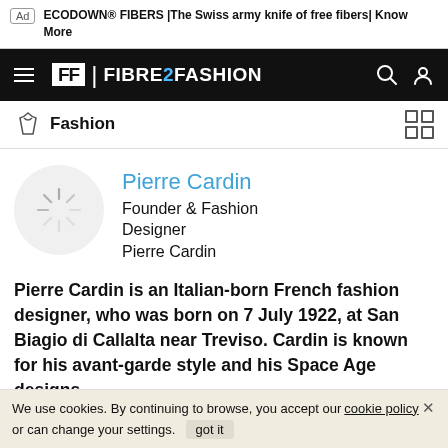Ad | ECODOWN® FIBERS |The Swiss army knife of free fibers| Know More
[Figure (logo): FIBRE2FASHION navigation bar logo with hamburger menu, FF logo mark, site name, search and user icons on black background]
Fashion
[Figure (photo): Pierre Cardin profile avatar placeholder circle with loading spinner]
Pierre Cardin
Founder & Fashion Designer
Pierre Cardin
Pierre Cardin is an Italian-born French fashion designer, who was born on 7 July 1922, at San Biagio di Callalta near Treviso. Cardin is known for his avant-garde style and his Space Age designs.
We use cookies. By continuing to browse, you accept our cookie policy or can change your settings. got it